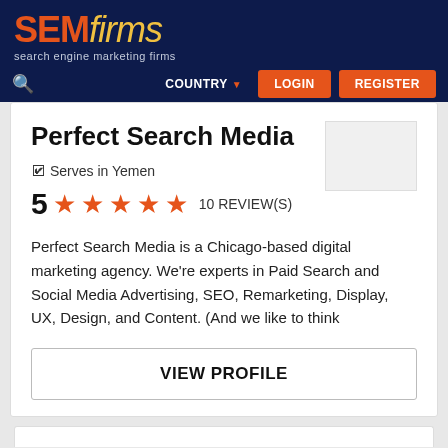SEMfirms - search engine marketing firms
Perfect Search Media
Serves in Yemen
5 ★★★★★ 10 REVIEW(S)
Perfect Search Media is a Chicago-based digital marketing agency. We're experts in Paid Search and Social Media Advertising, SEO, Remarketing, Display, UX, Design, and Content. (And we like to think
VIEW PROFILE